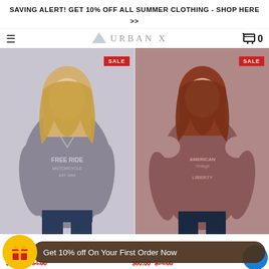SAVING ALERT! GET 10% OFF ALL SUMMER CLOTHING - SHOP HERE >>
[Figure (screenshot): Urban X brand navigation bar with hamburger menu icon on left, Urban X mountain logo and text in center, shopping cart with 0 items on right]
[Figure (photo): Left product: woman wearing grey marled 'Free Ride Motorcycle EST. 1964' V-neck long sleeve top with SALE badge. Right product: woman wearing mauve 'American Vintage Liberty 1960' cold shoulder long sleeve top with SALE badge.]
Get 10% off On Your First Order Now
$60.00  $64.00   $60.00  $74.00